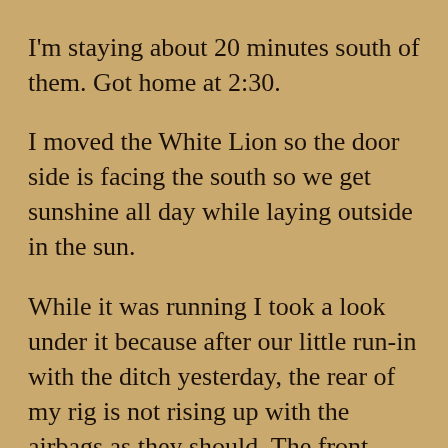I'm staying about 20 minutes south of them.  Got home at 2:30.
I moved the White Lion so the door side is facing the south so we get sunshine all day while laying outside in the sun.
While it was running I took a look under it because after our little run-in with the ditch yesterday, the rear of my rig is not rising up with the airbags as they should.  The front does but not the rear.
It appears that I tore an air pressure line and